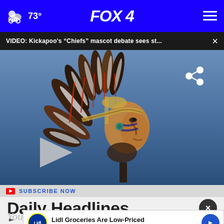73° FOX 4
VIDEO: Kickapoo's "Chiefs" mascot debate sees st...
[Figure (screenshot): Video thumbnail showing a Native American chief mascot sculpture/sign with headdress against a blue background, with a play button overlay and share icon]
SUBSCRIBE NOW
Daily Headlines
Lidl Groceries Are Low-Priced
Lidl
Your email